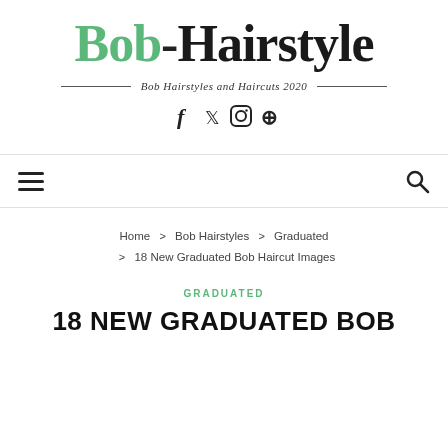Bob-Hairstyle
Bob Hairstyles and Haircuts 2020
[Figure (other): Social media icons: Facebook, Twitter, Instagram, Pinterest]
[Figure (other): Navigation bar with hamburger menu icon on left and search icon on right]
Home > Bob Hairstyles > Graduated > 18 New Graduated Bob Haircut Images
GRADUATED
18 NEW GRADUATED BOB